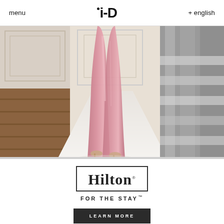menu  i-D  + english
[Figure (photo): Fashion runway photo showing lower half of a model wearing a shiny pink/rose satin wide-leg trouser, walking on a white catwalk with ornate room decor and silver/metallic runway edge visible]
[Figure (logo): Hilton FOR THE STAY logo with rectangular border, and a LEARN MORE button below]
LEARN MORE